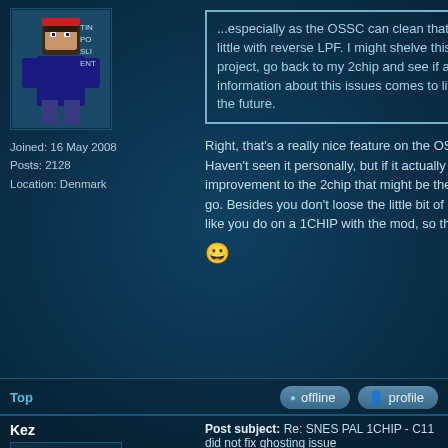[Figure (illustration): Pixel art avatar of a character, with text labels TIN, PO, SLI, ENT on the right side]
Joined: 16 May 2008
Posts: 2128
Location: Denmark
...especially as the OSSC can clean that up a little with reverse LPF. I might shelve this project, go back to my 2chip and see if any more information about this issues comes to light in the future.
Right, that's a really nice feature on the OSSC. Haven't seen it personally, but if it actually makes an improvement to the 2chip that might be the way to go. Besides you don't loose the little bit of graphics like you do on a 1CHIP with the mod, so there's that 😀
Top
offline
profile
Kez
Post subject: Re: SNES PAL 1CHIP - C11 did not fix ghosting issue
Posted: Tue May 18, 2021 11:36 pm
jsteel wrote:
I found some of my old SCART cables